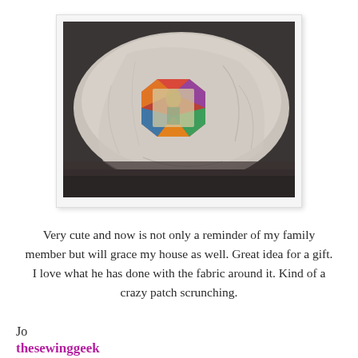[Figure (photo): A decorative pillow with a light cream/beige wrinkled fabric, featuring an octagonal patchwork patch in the center with colorful fabric pieces and a faded image of a person on it.]
Very cute and now is not only a reminder of my family member but will grace my house as well. Great idea for a gift. I love what he has done with the fabric around it. Kind of a crazy patch scrunching.
Jo
thesewinggeek